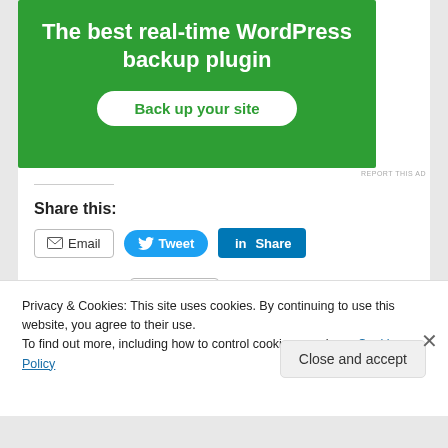[Figure (illustration): Green advertisement banner for WordPress backup plugin with white text 'The best real-time WordPress backup plugin' and a white rounded button 'Back up your site']
REPORT THIS AD
Share this:
[Figure (screenshot): Social sharing buttons: Email (outlined), Tweet (blue pill), Share on LinkedIn (blue rectangle), and More (outlined with share icon)]
Like this:
Privacy & Cookies: This site uses cookies. By continuing to use this website, you agree to their use.
To find out more, including how to control cookies, see here: Cookie Policy